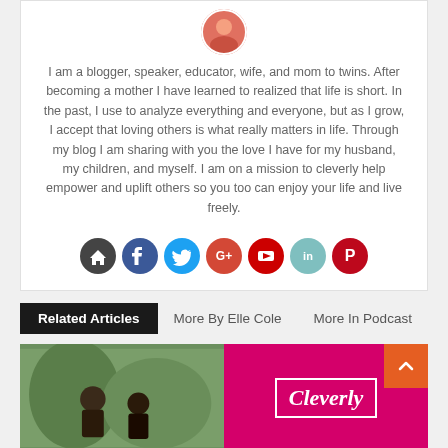[Figure (photo): Circular avatar photo of a person at the top of the bio card]
I am a blogger, speaker, educator, wife, and mom to twins. After becoming a mother I have learned to realized that life is short. In the past, I use to analyze everything and everyone, but as I grow, I accept that loving others is what really matters in life. Through my blog I am sharing with you the love I have for my husband, my children, and myself. I am on a mission to cleverly help empower and uplift others so you too can enjoy your life and live freely.
[Figure (infographic): Row of 7 social media icon buttons: home (dark grey), Facebook (dark blue), Twitter (blue), Google+ (red-orange), YouTube (red), LinkedIn (teal), Pinterest (dark red)]
Related Articles
More By Elle Cole
More In Podcast
[Figure (photo): Photo on left: two people among green foliage. Photo on right: magenta/pink background with 'Cleverly' text logo in white italic cursive with white border frame. Orange back-to-top chevron button overlaid at top-right.]